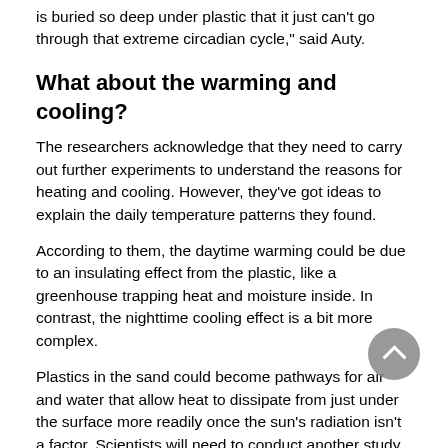is buried so deep under plastic that it just can't go through that extreme circadian cycle," said Auty.
What about the warming and cooling?
The researchers acknowledge that they need to carry out further experiments to understand the reasons for heating and cooling. However, they've got ideas to explain the daily temperature patterns they found.
According to them, the daytime warming could be due to an insulating effect from the plastic, like a greenhouse trapping heat and moisture inside. In contrast, the nighttime cooling effect is a bit more complex.
Plastics in the sand could become pathways for air and water that allow heat to dissipate from just under the surface more readily once the sun's radiation isn't a factor. Scientists will need to conduct another study to figure out why the temperature change happens.
Just one or two degrees of temperature change leads to